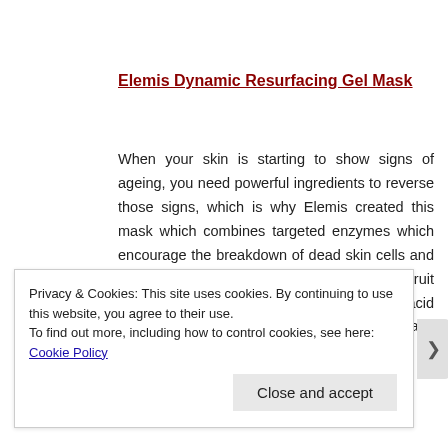Elemis Dynamic Resurfacing Gel Mask
When your skin is starting to show signs of ageing, you need powerful ingredients to reverse those signs, which is why Elemis created this mask which combines targeted enzymes which encourage the breakdown of dead skin cells and promotes cell regeneration. It uses various fruit acids, including organic Acerola cherry acid which effectively exfoliates the skins surface adding to the resurfacing efficacy of the mask.
Privacy & Cookies: This site uses cookies. By continuing to use this website, you agree to their use.
To find out more, including how to control cookies, see here: Cookie Policy
Close and accept